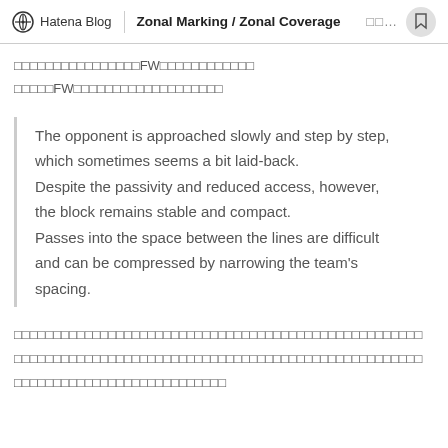Hatena Blog | Zonal Marking / Zonal Coverage
□□□□□□□□□□□□□□□□FW□□□□□□□□□□□□
□□□□□FW□□□□□□□□□□□□□□□□□□□
The opponent is approached slowly and step by step, which sometimes seems a bit laid-back.
Despite the passivity and reduced access, however, the block remains stable and compact.
Passes into the space between the lines are difficult and can be compressed by narrowing the team's spacing.
□□□□□□□□□□□□□□□□□□□□□□□□□□□□□□□□□□□□□□□□□□□□□□□□□□□□
□□□□□□□□□□□□□□□□□□□□□□□□□□□□□□□□□□□□□□□□□□□□□□□□□□□□
□□□□□□□□□□□□□□□□□□□□□□□□□□□